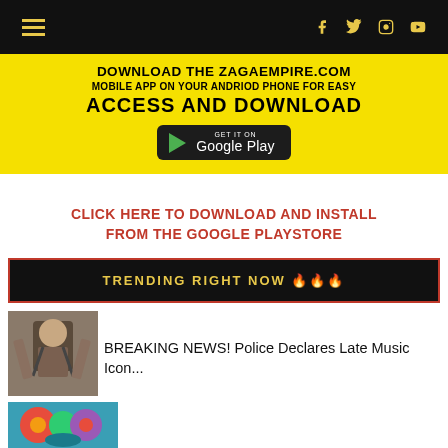Navigation header with hamburger menu and social icons (Facebook, Twitter, Instagram, YouTube)
[Figure (screenshot): Yellow banner advertisement: DOWNLOAD THE ZAGAEMPIRE.COM MOBILE APP ON YOUR ANDRIOD PHONE FOR EASY ACCESS AND DOWNLOAD with Google Play button]
CLICK HERE TO DOWNLOAD AND INSTALL FROM THE GOOGLE PLAYSTORE
[Figure (infographic): Black banner with red border: TRENDING RIGHT NOW with fire emojis]
[Figure (photo): Thumbnail photo of a person holding something, associated with breaking news article]
BREAKING NEWS! Police Declares Late Music Icon...
[Figure (photo): Thumbnail with colorful decorative image for second news article]